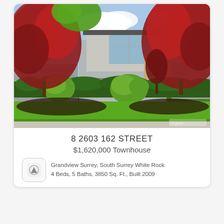[Figure (photo): Exterior photo of a modern townhouse with red Japanese maple trees, manicured hedges, green shrubs, and a paved front walkway. Two-storey home with large windows and wood/stone siding.]
8 2603 162 STREET
$1,620,000 Townhouse
Grandview Surrey, South Surrey White Rock
4 Beds, 5 Baths, 3850 Sq. Ft., Built 2009